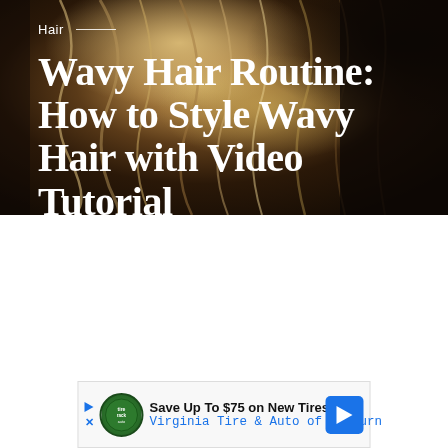[Figure (photo): Photograph of a person with wavy blonde/brunette highlighted hair seen from behind, used as hero image background for article]
Hair —
Wavy Hair Routine: How to Style Wavy Hair with Video Tutorial
[Figure (infographic): Advertisement banner: Save Up To $75 on New Tires - Virginia Tire & Auto of Ashburn, with play/close controls, circular logo, and blue arrow icon]